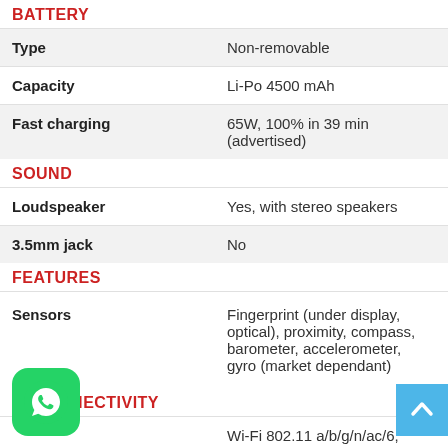BATTERY
|  |  |
| --- | --- |
| Type | Non-removable |
| Capacity | Li-Po 4500 mAh |
| Fast charging | 65W, 100% in 39 min (advertised) |
SOUND
|  |  |
| --- | --- |
| Loudspeaker | Yes, with stereo speakers |
| 3.5mm jack | No |
FEATURES
|  |  |
| --- | --- |
| Sensors | Fingerprint (under display, optical), proximity, compass, barometer, accelerometer, gyro (market dependant) |
CONNECTIVITY
|  |  |
| --- | --- |
|  | Wi-Fi 802.11 a/b/g/n/ac/6, |